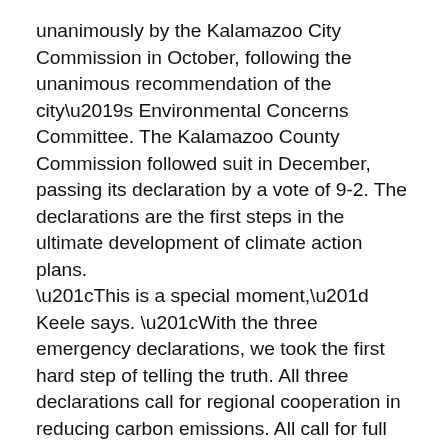unanimously by the Kalamazoo City Commission in October, following the unanimous recommendation of the city's Environmental Concerns Committee. The Kalamazoo County Commission followed suit in December, passing its declaration by a vote of 9-2. The declarations are the first steps in the ultimate development of climate action plans.
“This is a special moment,” Keele says. “With the three emergency declarations, we took the first hard step of telling the truth. All three declarations call for regional cooperation in reducing carbon emissions. All call for full community participation and a just transition, prioritizing the most vulnerable in our community and ensuring they have a voice.
“That is our work. Everything is changing. We are building something totally new. We have choices about how we will do that together. I cannot get